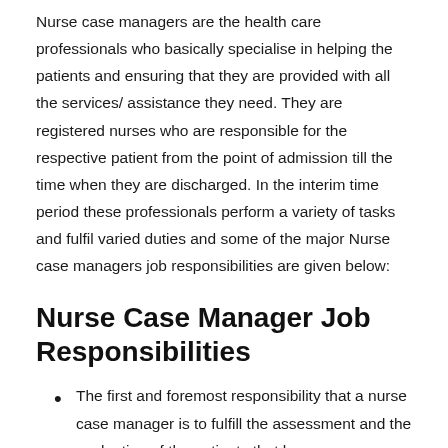Nurse case managers are the health care professionals who basically specialise in helping the patients and ensuring that they are provided with all the services/ assistance they need. They are registered nurses who are responsible for the respective patient from the point of admission till the time when they are discharged. In the interim time period these professionals perform a variety of tasks and fulfil varied duties and some of the major Nurse case managers job responsibilities are given below:
Nurse Case Manager Job Responsibilities
The first and foremost responsibility that a nurse case manager is to fulfill the assessment and the evaluation of the patients that have come seeking medical advice.